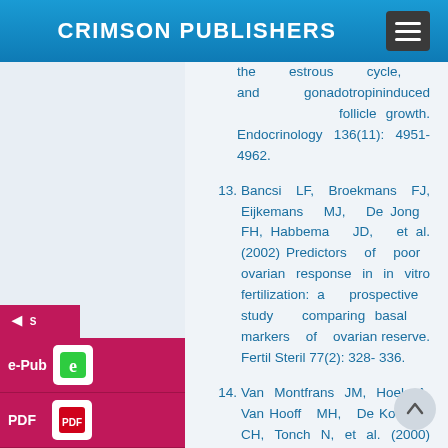CRIMSON PUBLISHERS
the estrous cycle, and gonadotropininduced follicle growth. Endocrinology 136(11): 4951-4962.
13. Bancsi LF, Broekmans FJ, Eijkemans MJ, De Jong FH, Habbema JD, et al. (2002) Predictors of poor ovarian response in in vitro fertilization: a prospective study comparing basal markers of ovarian reserve. Fertil Steril 77(2): 328-336.
14. Van Montfrans JM, Hoek A, Van Hooff MH, De Koning CH, Tonch N, et al. (2000) Predictive value of basal follicle-